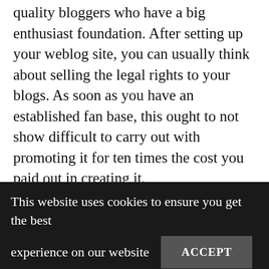quality bloggers who have a big enthusiast foundation. After setting up your weblog site, you can usually think about selling the legal rights to your blogs. As soon as you have an established fan base, this ought to not show difficult to carry out with promoting it for ten times the cost you paid out in creating it.
Always react to people who leave feedback on your blog. You'll discover that blogging is more thrilling if you can get a dialogue heading with your visitors. You can also find websites to announce the birth of your blog or share your
This website uses cookies to ensure you get the best experience on our website